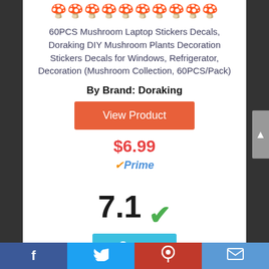[Figure (photo): Small mushroom sticker icons in a row]
60PCS Mushroom Laptop Stickers Decals, Doraking DIY Mushroom Plants Decoration Stickers Decals for Windows, Refrigerator, Decoration (Mushroom Collection, 60PCS/Pack)
By Brand: Doraking
View Product
$6.99
✓Prime
7.1 ✓
Score
f  Twitter  Pinterest  Mail